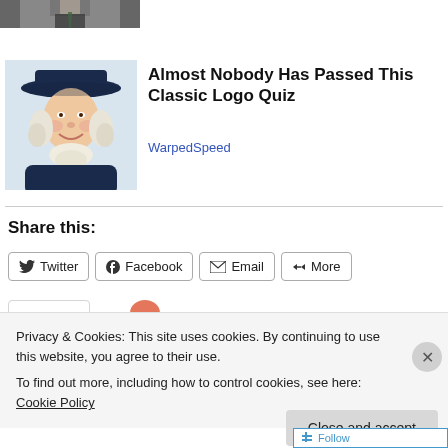[Figure (photo): Partial photo of a person in a suit, cropped at top]
[Figure (illustration): Illustration of a colonial-era figure wearing a dark hat and white ruffled collar, resembling the Quaker Oats man]
Almost Nobody Has Passed This Classic Logo Quiz
WarpedSpeed
Share this:
Twitter
Facebook
Email
More
Privacy & Cookies: This site uses cookies. By continuing to use this website, you agree to their use.
To find out more, including how to control cookies, see here: Cookie Policy
Close and accept